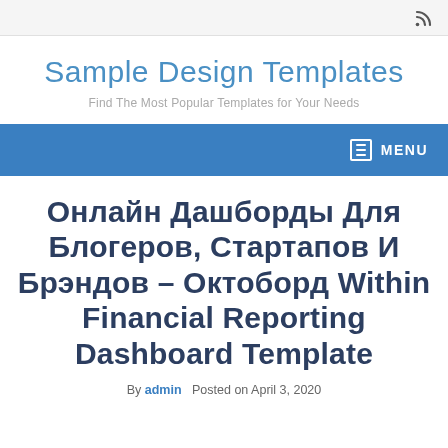RSS icon top bar
Sample Design Templates
Find The Most Popular Templates for Your Needs
MENU
Онлайн Дашборды Для Блогеров, Стартапов И Брэндов – Октоборд Within Financial Reporting Dashboard Template
By admin   Posted on April 3, 2020